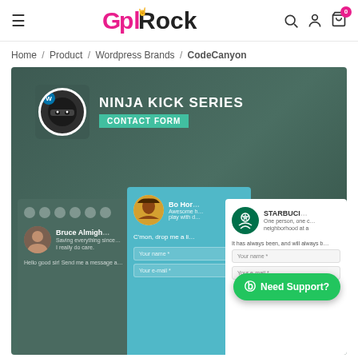GplRock — navigation header with hamburger menu, logo, search, account, and cart icons
Home / Product / Wordpress Brands / CodeCanyon
[Figure (screenshot): Product page screenshot showing Ninja Kick Series Contact Form plugin banner with ninja icon, and demo screens showing Bruce Almighty, Bo Jack Horseman, and Starbucks contact form examples. A green 'Need Support?' WhatsApp button is visible.]